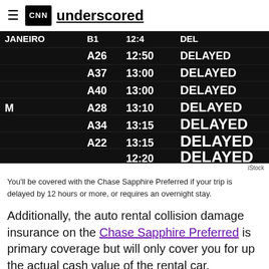CNN underscored
[Figure (photo): Airport departure board showing multiple delayed flights with times 12:50, 13:00, 13:00, 13:10, 13:15 and gate numbers A26, A37, A40, A28, A34, A22, all marked DELAYED]
iStock
You'll be covered with the Chase Sapphire Preferred if your trip is delayed by 12 hours or more, or requires an overnight stay.
Additionally, the auto rental collision damage insurance on the Chase Sapphire Preferred is primary coverage but will only cover you for up the actual cash value of the rental car. Conversely, the maximum on the Sapphire Reserve is $75,000,